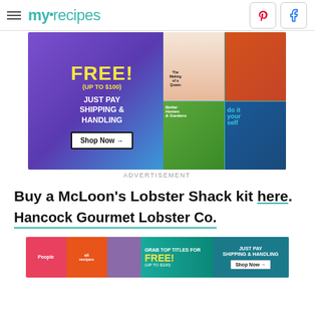myrecipes — Pinterest, Facebook nav
[Figure (infographic): Advertisement banner: FREE! (UP TO $100) JUST PAY SHIPPING & HANDLING Shop Now arrow, with magazine covers]
ADVERTISEMENT
Buy a McLoon's Lobster Shack kit here.
Hancock Gourmet Lobster Co.
[Figure (infographic): Second advertisement banner: People, allrecipes, GRAB TOP TITLES FOR FREE! (UP TO $100) JUST PAY SHIPPING & HANDLING Shop Now arrow]